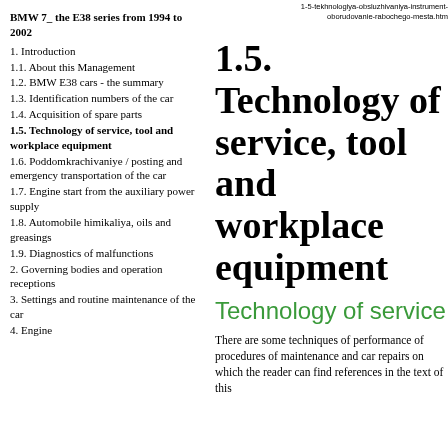1-5-tekhnologiya-obsluzhivaniya-instrument-oborudovanie-rabochego-mesta.htm
BMW 7_ the E38 series from 1994 to 2002
1. Introduction
1.1. About this Management
1.2. BMW E38 cars - the summary
1.3. Identification numbers of the car
1.4. Acquisition of spare parts
1.5. Technology of service, tool and workplace equipment
1.6. Poddomkrachivaniye / posting and emergency transportation of the car
1.7. Engine start from the auxiliary power supply
1.8. Automobile himikaliya, oils and greasings
1.9. Diagnostics of malfunctions
2. Governing bodies and operation receptions
3. Settings and routine maintenance of the car
4. Engine
1.5. Technology of service, tool and workplace equipment
Technology of service
There are some techniques of performance of procedures of maintenance and car repairs on which the reader can find references in the text of this